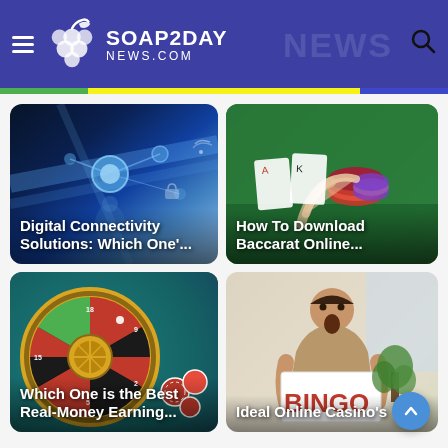Soap2Day News.com
[Figure (screenshot): Digital Connectivity Solutions article card with blue tech background showing digital network visualization]
Digital Connectivity Solutions: Which One'...
[Figure (screenshot): How To Download Baccarat Online article card with casino table and poker chips background]
How To Download Baccarat Online...
[Figure (screenshot): Which One is the Best Real-Money Earning article card with roulette wheel background]
Which One is the Best Real-Money Earning...
[Figure (screenshot): Ideal Online Casino's article card with man holding BINGO sign]
Ideal Online Casino's